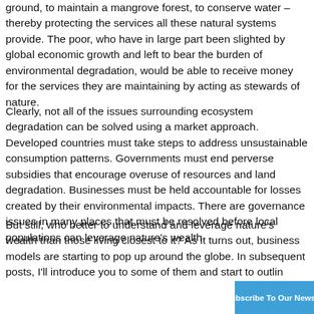ground, to maintain a mangrove forest, to conserve water – thereby protecting the services all these natural systems provide. The poor, who have in large part been slighted by global economic growth and left to bear the burden of environmental degradation, would be able to receive money for the services they are maintaining by acting as stewards of nature.
Clearly, not all of the issues surrounding ecosystem degradation can be solved using a market approach. Developed countries must take steps to address unsustainable consumption patterns. Governments must end perverse subsidies that encourage overuse of resources and land degradation. Businesses must be held accountable for losses created by their environmental impacts. There are governance issues in many places that must be resolved before local populations can leverage nature's wealth.
But still, who better to understand and leverage nature's wealth than those living closest to it? As it turns out, business models are starting to pop up around the globe. In subsequent posts, I'll introduce you to some of them and start to outlin
+ Subscribe To Our Newsletter